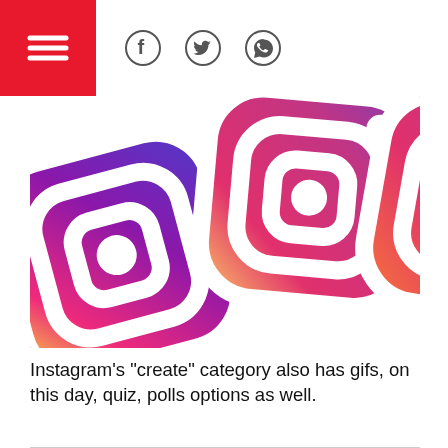Social media news site header with logo and social icons (Facebook, Twitter, WhatsApp)
[Figure (photo): Colorful Instagram logo icons in pink, purple, orange, red gradient with white swoosh lines, stacked overlapping]
Instagram's "create" category also has gifs, on this day, quiz, polls options as well.
First spotted by Matt Navarra, Instagram has now rolled out a "shoutout" feature to the "create" category of Instagram story. It comes in four options including Happy
READ MORE
TAGS
HOW TO
INSTAGRAM
INSTAGRAM CREATE